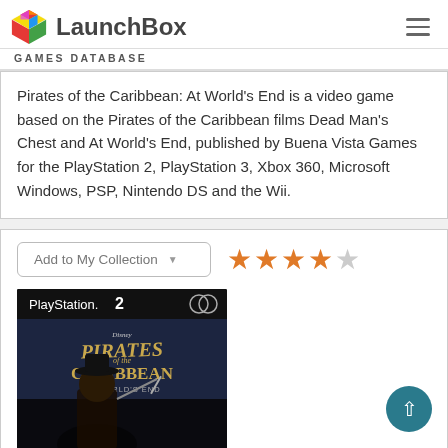LaunchBox GAMES DATABASE
Pirates of the Caribbean: At World's End is a video game based on the Pirates of the Caribbean films Dead Man's Chest and At World's End, published by Buena Vista Games for the PlayStation 2, PlayStation 3, Xbox 360, Microsoft Windows, PSP, Nintendo DS and the Wii.
[Figure (screenshot): Add to My Collection button with dropdown arrow and 4-star rating (4 orange stars, 1 grey star)]
[Figure (photo): PlayStation 2 game cover for Pirates of the Caribbean: At World's End showing Jack Sparrow character]